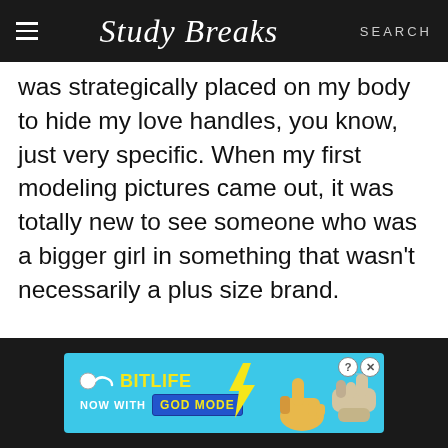Study Breaks | SEARCH
was strategically placed on my body to hide my love handles, you know, just very specific. When my first modeling pictures came out, it was totally new to see someone who was a bigger girl in something that wasn't necessarily a plus size brand.
[Figure (screenshot): BitLife advertisement banner: blue background with BitLife logo in yellow text, 'NOW WITH GOD MODE' text, lightning bolt graphic, and thumbs-up/pointing hand graphics, with close and info buttons.]